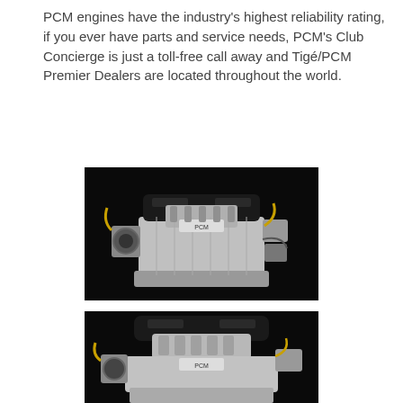PCM engines have the industry's highest reliability rating, if you ever have parts and service needs, PCM's Club Concierge is just a toll-free call away and Tigé/PCM Premier Dealers are located throughout the world.
[Figure (photo): Photo of a PCM HO V8 marine engine (303 hp) on a black background, showing silver engine block, intake manifold, and black accessories.]
Engine - HO V8, 303 hp
[Figure (photo): Photo of a PCM marine engine (partial view) on a black background, showing silver engine top with black accessories, cropped at bottom.]